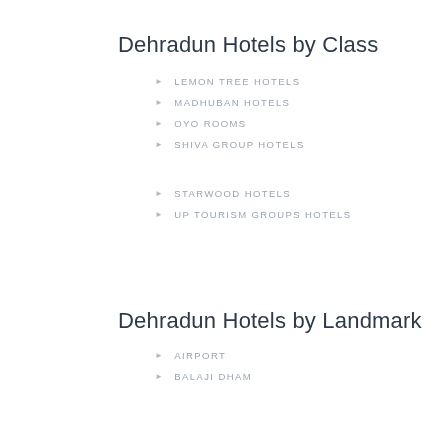Dehradun Hotels by Class
LEMON TREE HOTELS
MADHUBAN HOTELS
OYO ROOMS
SHIVA GROUP HOTELS
STARWOOD HOTELS
UP TOURISM GROUPS HOTELS
Dehradun Hotels by Landmark
AIRPORT
BALAJI DHAM